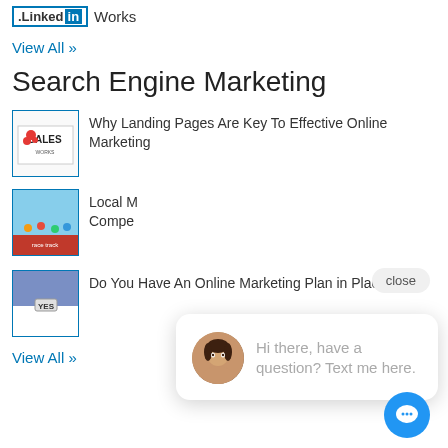[Figure (logo): LinkedIn logo with 'Works' text]
View All »
Search Engine Marketing
[Figure (photo): Thumbnail image of a SALES sign]
Why Landing Pages Are Key To Effective Online Marketing
[Figure (photo): Thumbnail image of runners on a track]
Local M... Compe...
[Figure (screenshot): Chat popup overlay with avatar and message: Hi there, have a question? Text me here. With close button and chat icon.]
[Figure (photo): Thumbnail image of YES sign in clouds]
Do You Have An Online Marketing Plan in Place?
View All »